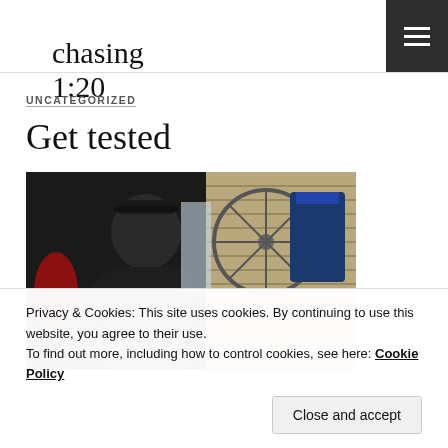chasing 1:20
UNCATEGORIZED
Get tested
[Figure (photo): A person working in a bicycle shop with bikes hanging on the wall and cycling jerseys in the background.]
Privacy & Cookies: This site uses cookies. By continuing to use this website, you agree to their use.
To find out more, including how to control cookies, see here: Cookie Policy
Last February, I ventured up to Fenton in Vermont and underwent a V02 test at the with...